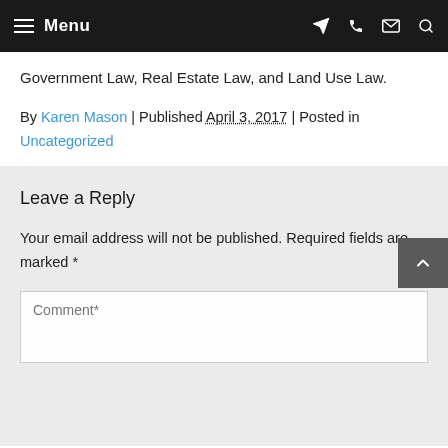Menu
Government Law, Real Estate Law, and Land Use Law.
By Karen Mason | Published April 3, 2017 | Posted in Uncategorized
Leave a Reply
Your email address will not be published. Required fields are marked *
Comment*